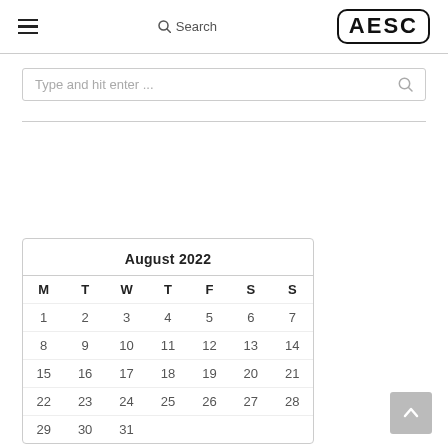≡  Search  AESC
Type and hit enter ...
| M | T | W | T | F | S | S |
| --- | --- | --- | --- | --- | --- | --- |
| 1 | 2 | 3 | 4 | 5 | 6 | 7 |
| 8 | 9 | 10 | 11 | 12 | 13 | 14 |
| 15 | 16 | 17 | 18 | 19 | 20 | 21 |
| 22 | 23 | 24 | 25 | 26 | 27 | 28 |
| 29 | 30 | 31 |  |  |  |  |